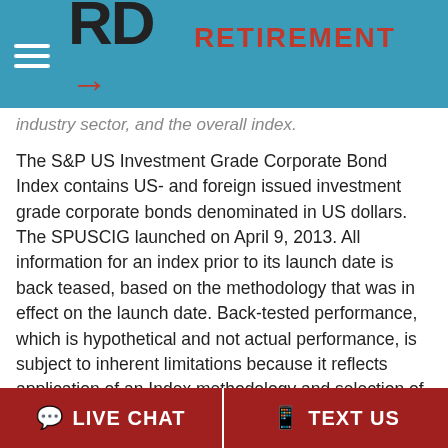RD → RETIREMENT THRU DESIGN
industry sector, and the overall index.
The S&P US Investment Grade Corporate Bond Index contains US- and foreign issued investment grade corporate bonds denominated in US dollars. The SPUSCIG launched on April 9, 2013. All information for an index prior to its launch date is back teased, based on the methodology that was in effect on the launch date. Back-tested performance, which is hypothetical and not actual performance, is subject to inherent limitations because it reflects application of an Index methodology and selection of index constituents in hindsight. No theoretical approach can take into account all of the factors in the markets in general and the impact of decisions that might have been made during the actual operation of an index. Actual returns may differ from, and be
LIVE CHAT   TEXT US